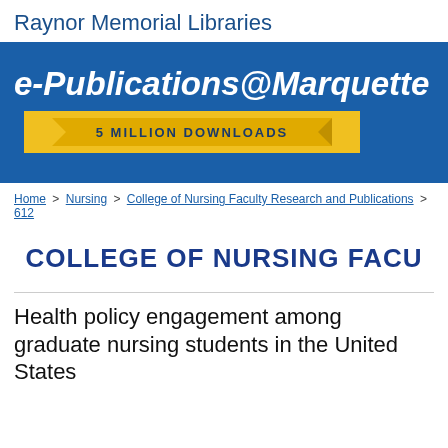Raynor Memorial Libraries
[Figure (logo): e-Publications@Marquette banner with blue background and '5 MILLION DOWNLOADS' gold ribbon badge]
Home > Nursing > College of Nursing Faculty Research and Publications > 612
COLLEGE OF NURSING FACU
Health policy engagement among graduate nursing students in the United States